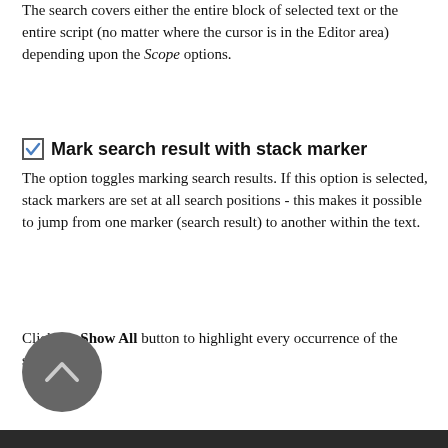The search covers either the entire block of selected text or the entire script (no matter where the cursor is in the Editor area) depending upon the Scope options.
Mark search result with stack marker
The option toggles marking search results. If this option is selected, stack markers are set at all search positions - this makes it possible to jump from one marker (search result) to another within the text.
Click the Show All button to highlight every occurrence of the search string.